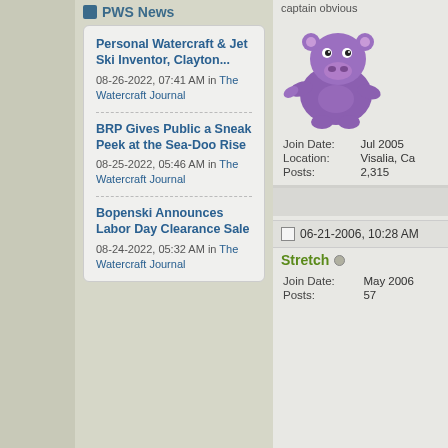PWS News
Personal Watercraft & Jet Ski Inventor, Clayton...
08-26-2022, 07:41 AM in The Watercraft Journal
BRP Gives Public a Sneak Peek at the Sea-Doo Rise
08-25-2022, 05:46 AM in The Watercraft Journal
Bopenski Announces Labor Day Clearance Sale
08-24-2022, 05:32 AM in The Watercraft Journal
captain obvious
[Figure (illustration): Purple hippo character avatar]
Join Date: Jul 2005
Location: Visalia, Ca
Posts: 2,315
06-21-2006, 10:28 AM
Stretch
Join Date: May 2006
Posts: 57